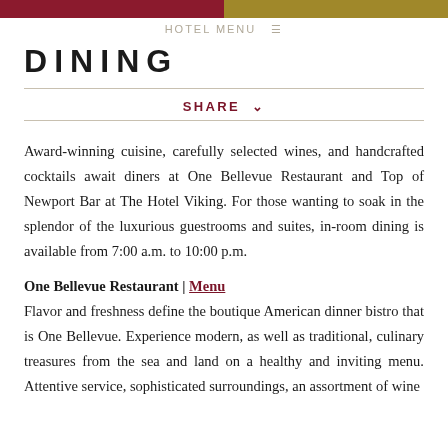HOTEL MENU
DINING
SHARE
Award-winning cuisine, carefully selected wines, and handcrafted cocktails await diners at One Bellevue Restaurant and Top of Newport Bar at The Hotel Viking. For those wanting to soak in the splendor of the luxurious guestrooms and suites, in-room dining is available from 7:00 a.m. to 10:00 p.m.
One Bellevue Restaurant | Menu
Flavor and freshness define the boutique American dinner bistro that is One Bellevue. Experience modern, as well as traditional, culinary treasures from the sea and land on a healthy and inviting menu. Attentive service, sophisticated surroundings, an assortment of wine